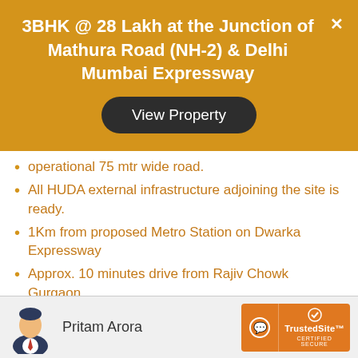3BHK @ 28 Lakh at the Junction of Mathura Road (NH-2) & Delhi Mumbai Expressway
View Property
operational 75 mtr wide road.
All HUDA external infrastructure adjoining the site is ready.
1Km from proposed Metro Station on Dwarka Expressway
Approx. 10 minutes drive from Rajiv Chowk Gurgaon.
Well connected Dwarka Expressway, SPR and NH 8
Pritam Arora
[Figure (logo): TrustedSite Certified Secure badge]